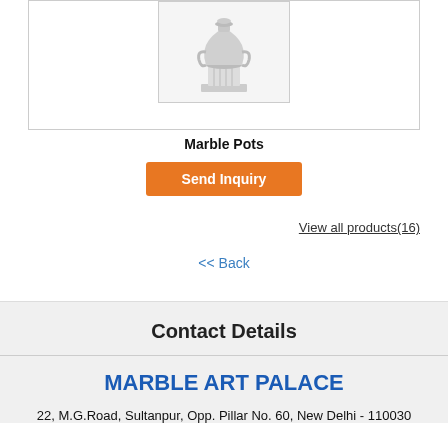[Figure (photo): Marble urn/pot on a pedestal, white marble, product photo]
Marble Pots
Send Inquiry
View all products(16)
<< Back
Contact Details
MARBLE ART PALACE
22, M.G.Road, Sultanpur, Opp. Pillar No. 60, New Delhi - 110030